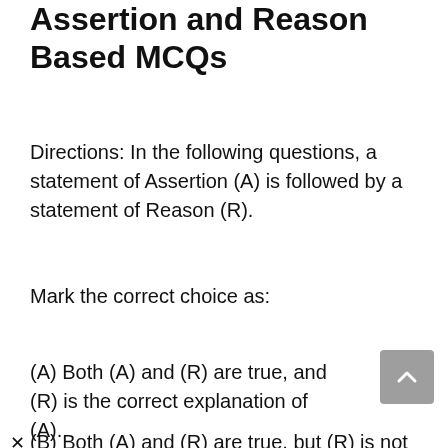Assertion and Reason Based MCQs
Directions: In the following questions, a statement of Assertion (A) is followed by a statement of Reason (R).
Mark the correct choice as:
(A) Both (A) and (R) are true, and (R) is the correct explanation of (A).
(B) Both (A) and (R) are true, but (R) is not